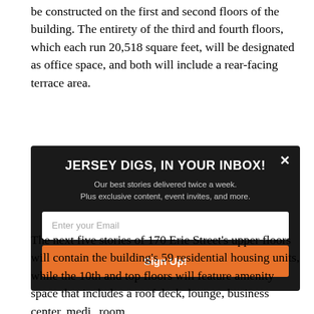be constructed on the first and second floors of the building. The entirety of the third and fourth floors, which each run 20,518 square feet, will be designated as office space, and both will include a rear-facing terrace area.
[Figure (other): Email newsletter signup popup with dark background. Title: 'JERSEY DIGS, IN YOUR INBOX!' Subtitle: 'Our best stories delivered twice a week. Plus exclusive content, event invites, and more.' Email input field and orange 'Sign Up!' button.]
The next five stories of 170 Erie Street's upper floors will contain the building's 59 residential housing units, while the 10th and top floors will feature amenity space that includes a roof deck, lounge, business center, medi x room,